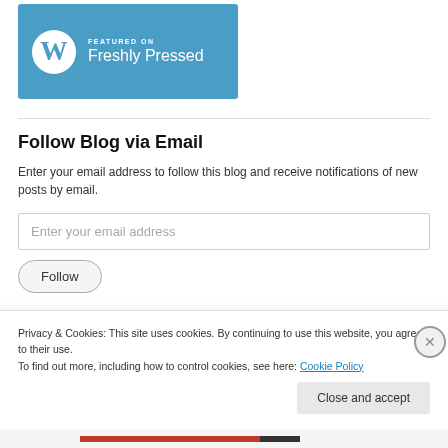[Figure (logo): WordPress 'Featured on Freshly Pressed' badge — blue rectangle with WordPress W logo and white text]
Follow Blog via Email
Enter your email address to follow this blog and receive notifications of new posts by email.
Enter your email address
Follow
Privacy & Cookies: This site uses cookies. By continuing to use this website, you agree to their use.
To find out more, including how to control cookies, see here: Cookie Policy
Close and accept